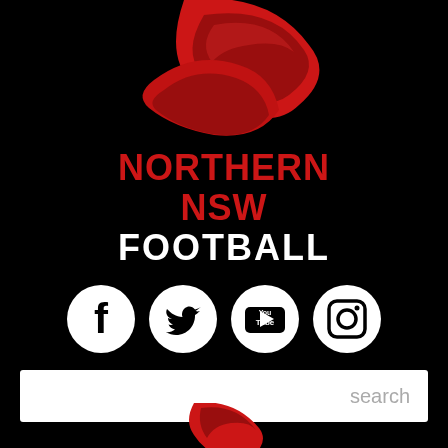[Figure (logo): Northern NSW Football logo - red curved football shape on black background, partial view at top]
NORTHERN NSW FOOTBALL
[Figure (infographic): Four social media icons in white circles on black: Facebook, Twitter, YouTube, Instagram]
[Figure (other): Search bar with gray placeholder text 'search' on white background]
[Figure (logo): Northern NSW Football logo partial at bottom of page]